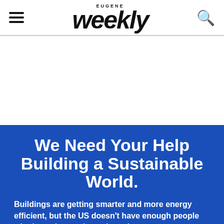Eugene Weekly
We Need Your Help Building a Sustainable World.
Buildings are getting smarter and more energy efficient, but the US doesn't have enough people who know how to keep them that way.